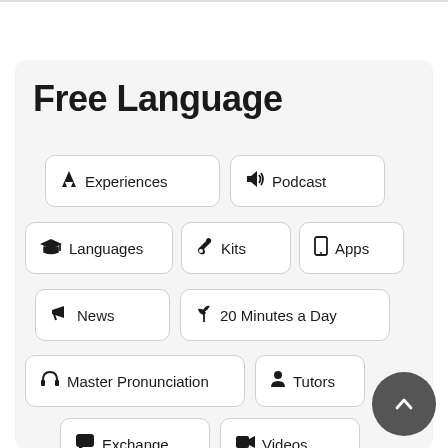Free Language
Experiences
Podcast
Languages
Kits
Apps
News
20 Minutes a Day
Master Pronunciation
Tutors
Exchange
Videos